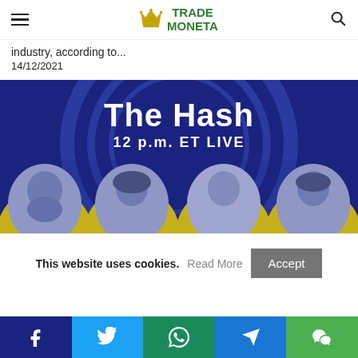TRADE MONETA
industry, according to...
14/12/2021
[Figure (photo): The Hash 12 p.m. ET LIVE promotional banner showing four hosts on a blue and yellow background]
This website uses cookies. Read More Accept
Facebook, Twitter, WhatsApp, Telegram, WeChat social share buttons